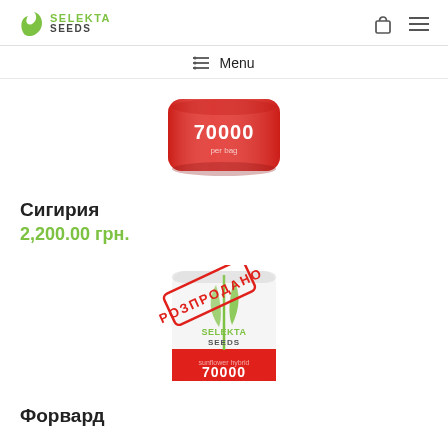SELEKTA SEEDS
≔ Menu
[Figure (photo): Red seed bag with '70000' printed on it, Selekta Seeds branding]
Сигирия
2,200.00 грн.
[Figure (photo): White and red seed bag with '70000' printed, Selekta Seeds branding, with a red 'РОЗПРОДАНО' (sold out) stamp overlaid diagonally]
Форвард